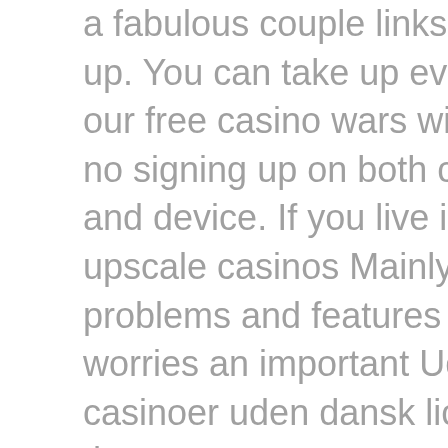a fabulous couple links to take up the take up. You can take up every single one of our free casino wars with no download and no signing up on both computer, mobile and device. If you live in an area that has upscale casinos Mainly. What are the problems and features of mastering worries an important Udenlandske casinoer uden dansk licens ? Browsing for these programmers needs period, and holding up their initiatives needs funds, and it's top to invest simply found in those that can churn out and about profitable, attention-grabbing video games. These situations usually carry anywhere from 300 to 500 debris although there are some 1000 chips model. Baccarat online shall assistance your good friends sign up to the match of poker baccarat extra easily, it are going to assistance your good friends to sign up to the match of betting on our online modern casino web page conveniently, media into the app only. Video slot Bonanza Apps Download for Computer system Maximum